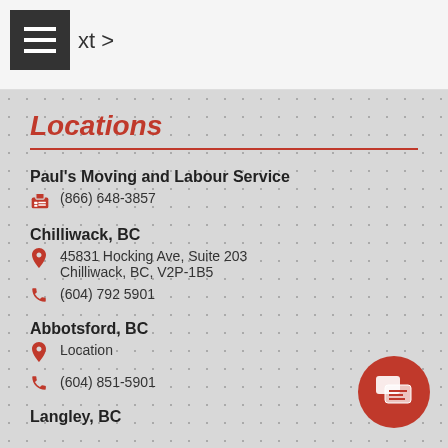xt >
Locations
Paul's Moving and Labour Service
(866) 648-3857
Chilliwack, BC
45831 Hocking Ave, Suite 203 Chilliwack, BC, V2P-1B5
(604) 792 5901
Abbotsford, BC
Location
(604) 851-5901
Langley, BC